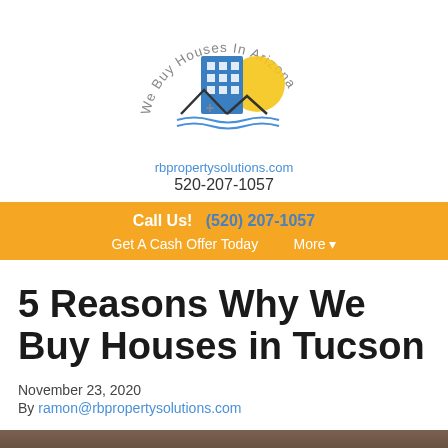[Figure (logo): We Buy Houses In Arizona logo with building icon, sun, and mountain/house silhouette. Below: rbpropertysolutions.com and 520-207-1057]
Call Us!  (520) 207-1057
Get A Cash Offer Today   More ▾
5 Reasons Why We Buy Houses in Tucson
November 23, 2020
By ramon@rbpropertysolutions.com
[Figure (photo): Partial photo at bottom of page, appears to show hands or people, dark tones]